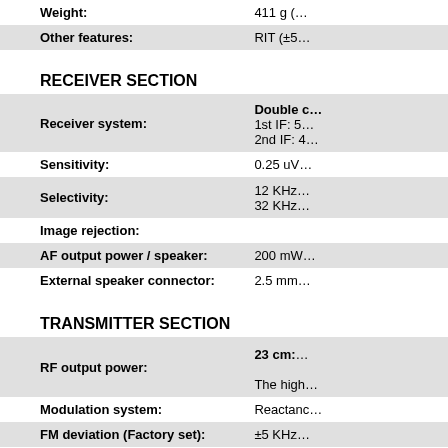| Feature | Value |
| --- | --- |
| Weight: | 411 g (… |
| Other features: | RIT (±5… |
RECEIVER SECTION
| Parameter | Value |
| --- | --- |
| Receiver system: | Double c…
1st IF: 5…
2nd IF: 4… |
| Sensitivity: | 0.25 uV… |
| Selectivity: | 12 KHz
32 KHz |
| Image rejection: |  |
| AF output power / speaker: | 200 mW… |
| External speaker connector: | 2.5 mm… |
TRANSMITTER SECTION
| Parameter | Value |
| --- | --- |
| RF output power: | 23 cm:

The high… |
| Modulation system: | Reactanc… |
| FM deviation (Factory set): | ±5 KHz… |
| Spurious emissions: | Better th… |